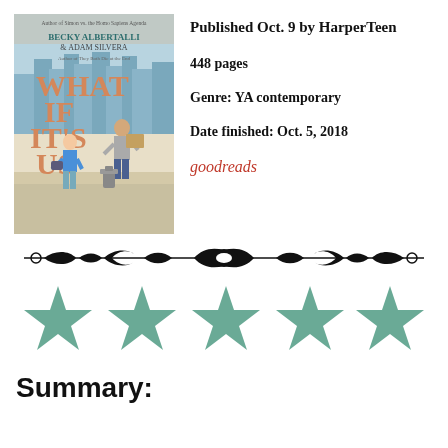[Figure (illustration): Book cover of 'What If It's Us' by Becky Albertalli and Adam Silvera, showing two young men on a city street with a fire hydrant, published by HarperTeen.]
Published Oct. 9 by HarperTeen
448 pages
Genre: YA contemporary
Date finished: Oct. 5, 2018
goodreads
[Figure (illustration): Decorative ornamental divider line with scroll and floral motifs in black.]
[Figure (illustration): Five teal/sage green stars representing a 5-star rating.]
Summary: